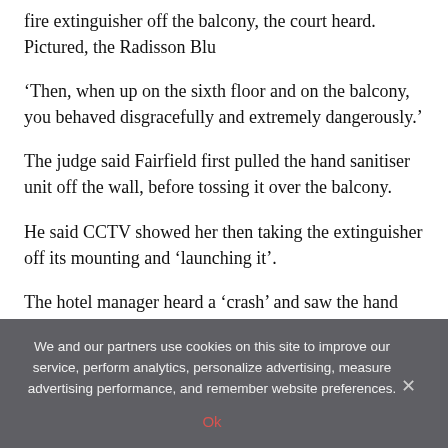fire extinguisher off the balcony, the court heard. Pictured, the Radisson Blu
‘Then, when up on the sixth floor and on the balcony, you behaved disgracefully and extremely dangerously.’
The judge said Fairfield first pulled the hand sanitiser unit off the wall, before tossing it over the balcony.
He said CCTV showed her then taking the extinguisher off its mounting and ‘launching it’.
The hotel manager heard a ‘crash’ and saw the hand
We and our partners use cookies on this site to improve our service, perform analytics, personalize advertising, measure advertising performance, and remember website preferences.